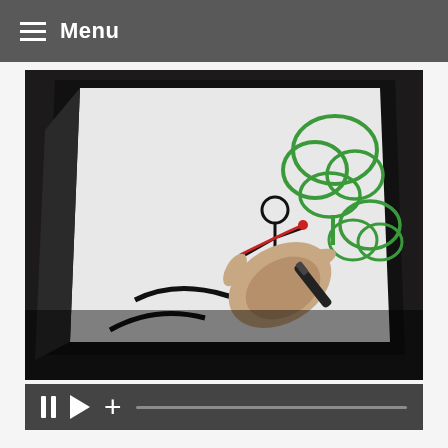Menu
[Figure (screenshot): Video player showing a hand drawing stick figures and green trees on a light tablet/drawing surface. Below the image is a video control bar with pause, play, and plus icons and a progress bar.]
A Bucket Plan to Go with Your Bucket List